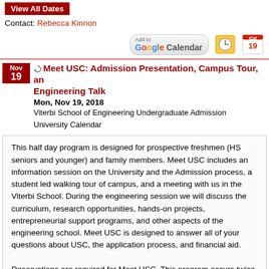View All Dates
Contact: Rebecca Kinnon
[Figure (screenshot): Calendar buttons: Add to Google Calendar, envelope/calendar icon, iCal icon]
Meet USC: Admission Presentation, Campus Tour, and Engineering Talk
Mon, Nov 19, 2018
Viterbi School of Engineering Undergraduate Admission
University Calendar
This half day program is designed for prospective freshmen (HS seniors and younger) and family members. Meet USC includes an information session on the University and the Admission process, a student led walking tour of campus, and a meeting with us in the Viterbi School. During the engineering session we will discuss the curriculum, research opportunities, hands-on projects, entrepreneurial support programs, and other aspects of the engineering school. Meet USC is designed to answer all of your questions about USC, the application process, and financial aid.

Reservations are required for Meet USC. This program occurs twice, once at 8:30 a.m. and again at 12:30 p.m.